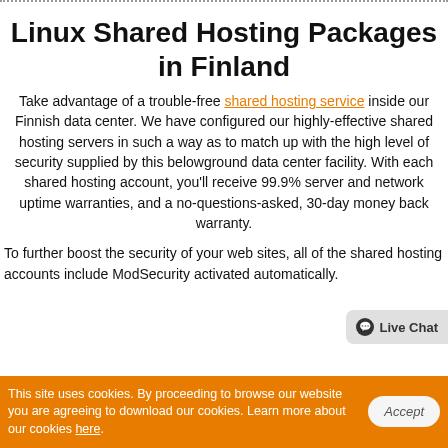Linux Shared Hosting Packages in Finland
Take advantage of a trouble-free shared hosting service inside our Finnish data center. We have configured our highly-effective shared hosting servers in such a way as to match up with the high level of security supplied by this belowground data center facility. With each shared hosting account, you'll receive 99.9% server and network uptime warranties, and a no-questions-asked, 30-day money back warranty.
To further boost the security of your web sites, all of the shared hosting accounts include ModSecurity activated automatically.
This site uses cookies. By proceeding to browse our website you are agreeing to download our cookies. Learn more about our cookies here.